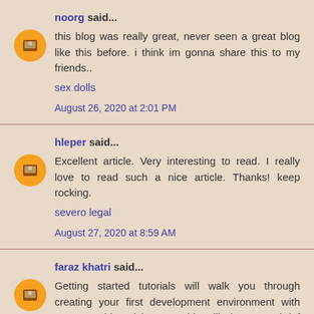noorg said...
this blog was really great, never seen a great blog like this before. i think im gonna share this to my friends..
sex dolls
August 26, 2020 at 2:01 PM
hleper said...
Excellent article. Very interesting to read. I really love to read such a nice article. Thanks! keep rocking.
severo legal
August 27, 2020 at 8:59 AM
faraz khatri said...
Getting started tutorials will walk you through creating your first development environment with Vagrant. This quick start guide will give you a brief ...Vagrant
August 28, 2020 at 7:08 AM